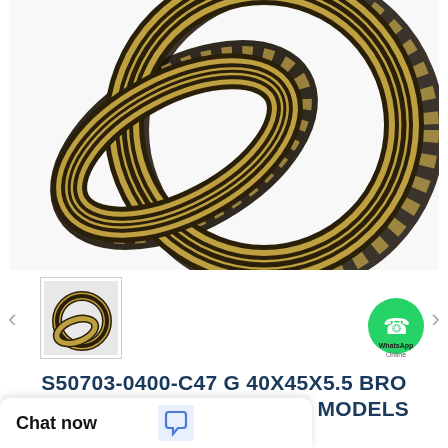[Figure (photo): Product photo of bronze filled guide rings — two large striped rings (tan/gold and dark brown/black stripes) shown close up on white background.]
[Figure (photo): Thumbnail image of a small bronze filled guide ring pair.]
[Figure (logo): WhatsApp green circle logo with phone handset icon, with text 'WhatsApp Online' overlaid.]
S50703-0400-C47 G 40X45X5.5 BRONZE FILLED GUIDE RINGS MODELS
Need a CAD or 3D Model?
Contact Now
WhatsApp
Chat now